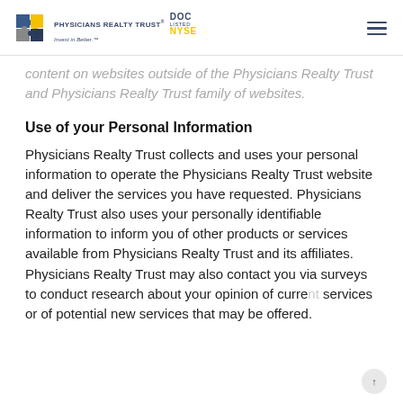Physicians Realty Trust DOC LISTED NYSE
content on websites outside of the Physicians Realty Trust and Physicians Realty Trust family of websites.
Use of your Personal Information
Physicians Realty Trust collects and uses your personal information to operate the Physicians Realty Trust website and deliver the services you have requested. Physicians Realty Trust also uses your personally identifiable information to inform you of other products or services available from Physicians Realty Trust and its affiliates. Physicians Realty Trust may also contact you via surveys to conduct research about your opinion of current services or of potential new services that may be offered.